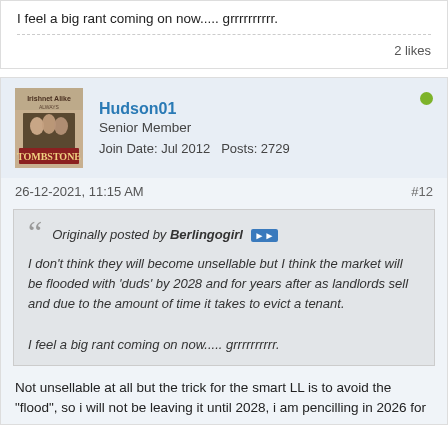I feel a big rant coming on now..... grrrrrrrrrr.
2 likes
Hudson01
Senior Member
Join Date: Jul 2012   Posts: 2729
26-12-2021, 11:15 AM
#12
Originally posted by Berlingogirl
I don't think they will become unsellable but I think the market will be flooded with 'duds' by 2028 and for years after as landlords sell and due to the amount of time it takes to evict a tenant.

I feel a big rant coming on now..... grrrrrrrrrr.
Not unsellable at all but the trick for the smart LL is to avoid the "flood", so i will not be leaving it until 2028, i am pencilling in 2026 for